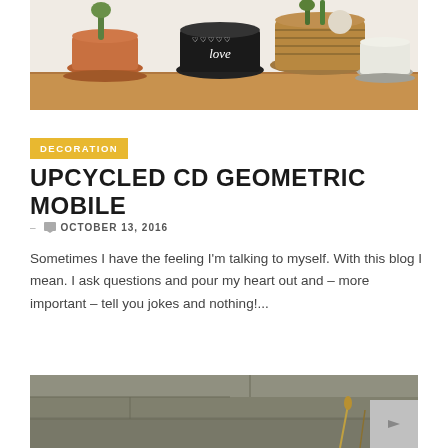[Figure (photo): Photo of decorative plant pots on a wooden shelf, including terracotta pots, a black pot with heart pattern and word 'love', a white pot, and a wicker basket with plants.]
DECORATION
UPCYCLED CD GEOMETRIC MOBILE
– 0 OCTOBER 13, 2016
Sometimes I have the feeling I'm talking to myself. With this blog I mean. I ask questions and pour my heart out and – more important – tell you jokes and nothing!...
[Figure (photo): Photo of a blurred outdoor/indoor scene with stone or brick wall background, with some plant or dried flowers visible, and a light gray square overlay in the bottom right corner containing a right-pointing arrow icon.]